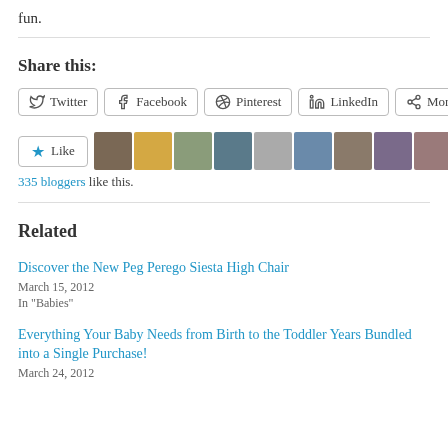fun.
Share this:
Twitter | Facebook | Pinterest | LinkedIn | More
[Figure (other): Like button with star icon and row of 11 blogger avatar thumbnails]
335 bloggers like this.
Related
Discover the New Peg Perego Siesta High Chair
March 15, 2012
In "Babies"
Everything Your Baby Needs from Birth to the Toddler Years Bundled into a Single Purchase!
March 24, 2012